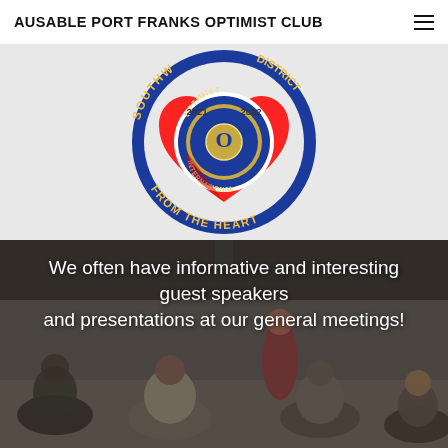AUSABLE PORT FRANKS OPTIMIST CLUB
[Figure (logo): Southwest Ontario District Optimist International circular logo for 2021-2022, featuring a blue ring with text 'Southwest Ontario District', a red heart shape, and the Optimist International emblem in the center with text 'From the Heart']
We often have informative and interesting guest speakers and presentations at our general meetings!
[Figure (photo): Dark photo showing people seated at tables at what appears to be a general meeting, with a person standing in the background]